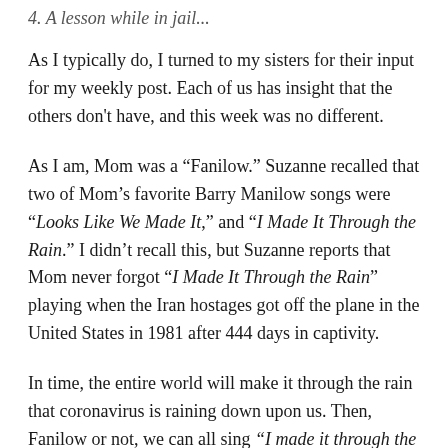4. A lesson while in jail...
As I typically do, I turned to my sisters for their input for my weekly post. Each of us has insight that the others don't have, and this week was no different.
As I am, Mom was a “Fanilow.” Suzanne recalled that two of Mom’s favorite Barry Manilow songs were “Looks Like We Made It,” and “I Made It Through the Rain.” I didn’t recall this, but Suzanne reports that Mom never forgot “I Made It Through the Rain” playing when the Iran hostages got off the plane in the United States in 1981 after 444 days in captivity.
In time, the entire world will make it through the rain that coronavirus is raining down upon us. Then, Fanilow or not, we can all sing “I made it through the rain.”